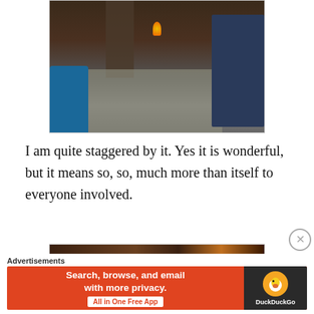[Figure (photo): Indoor scene with people sitting around in a dimly lit room, with fire or light source visible in the background]
I am quite staggered by it. Yes it is wonderful, but it means so, so, much more than itself to everyone involved.
[Figure (photo): Interior wooden structure, dimly lit with warm orange light from fire on the right side]
Advertisements Search, browse, and email with more privacy. All in One Free App DuckDuckGo